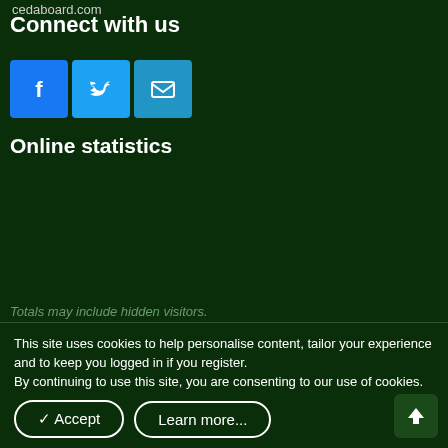cedaboard.com
Connect with us
[Figure (illustration): Three social media icon buttons: Facebook (blue), Twitter (light blue), Email (teal)]
Online statistics
| Stat | Value |
| --- | --- |
| Members online: | 3 |
| Guests online: | 481 |
| Total visitors: | 484 |
Totals may include hidden visitors.
This site uses cookies to help personalise content, tailor your experience and to keep you logged in if you register.
By continuing to use this site, you are consenting to our use of cookies.